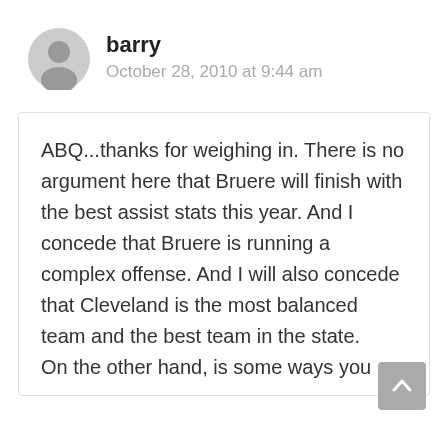[Figure (illustration): Gray circular user avatar icon]
barry
October 28, 2010 at 9:44 am
ABQ...thanks for weighing in. There is no argument here that Bruere will finish with the best assist stats this year. And I concede that Bruere is running a complex offense. And I will also concede that Cleveland is the most balanced team and the best team in the state.
On the other hand, is some ways you
[Figure (illustration): Gray scroll-to-top button with upward chevron arrow]